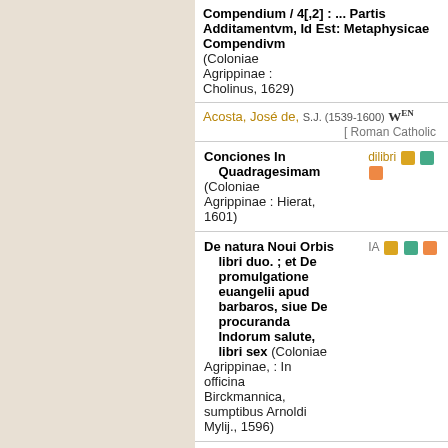Compendium / 4[,2] : ... Partis Additamentvm, Id Est: Metaphysicae Compendivm (Coloniae Agrippinae : Cholinus, 1629)
Acosta, José de, S.J. (1539-1600) W^EN [ Roman Catholic
Conciones In Quadragesimam (Coloniae Agrippinae : Hierat, 1601)
De natura Noui Orbis libri duo. ; et De promulgatione euangelii apud barbaros, siue De procuranda Indorum salute, libri sex (Coloniae Agrippinae, : In officina Birckmannica, sumptibus Arnoldi Mylij., 1596)